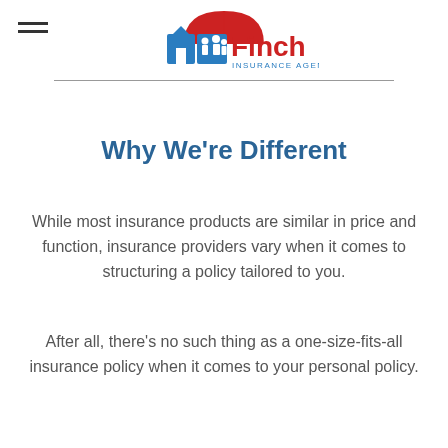Finch Insurance Agency
Why We're Different
While most insurance products are similar in price and function, insurance providers vary when it comes to structuring a policy tailored to you.
After all, there’s no such thing as a one-size-fits-all insurance policy when it comes to your personal policy.